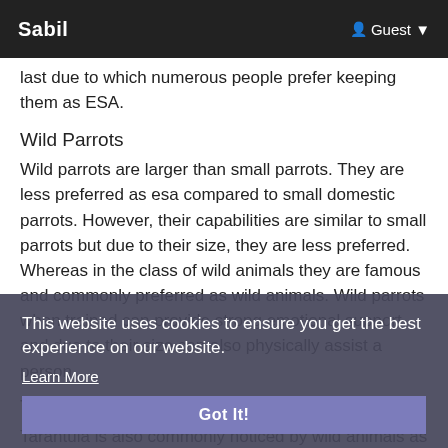Sabil   Guest
last due to which numerous people prefer keeping them as ESA.
Wild Parrots
Wild parrots are larger than small parrots. They are less preferred as esa compared to small domestic parrots. However, their capabilities are similar to small parrots but due to their size, they are less preferred. Whereas in the class of wild animals they are famous and commonly preferred as wild animals. Wild parrots when trained can provide strong emotional support and due to their size can also physically assist a person.
Tarantula
Tarantula is also commonly noticed by wild animals as ESA. They are less hairy than mammalians but due to their furry nature, they are commonly preferred as ESA. Their smooth
This website uses cookies to ensure you get the best experience on our website.
Learn More
Got It!